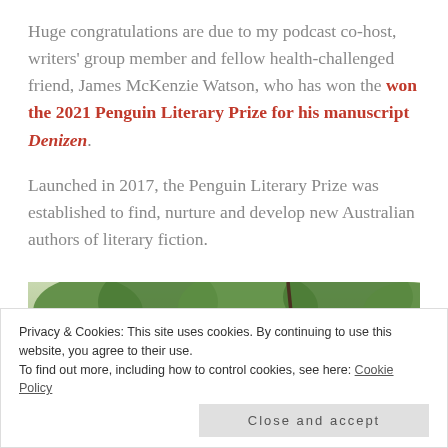Huge congratulations are due to my podcast co-host, writers' group member and fellow health-challenged friend, James McKenzie Watson, who has won the won the 2021 Penguin Literary Prize for his manuscript Denizen.
Launched in 2017, the Penguin Literary Prize was established to find, nurture and develop new Australian authors of literary fiction.
[Figure (photo): Partial photo of a person outdoors with green foliage/trees in the background]
Privacy & Cookies: This site uses cookies. By continuing to use this website, you agree to their use.
To find out more, including how to control cookies, see here: Cookie Policy